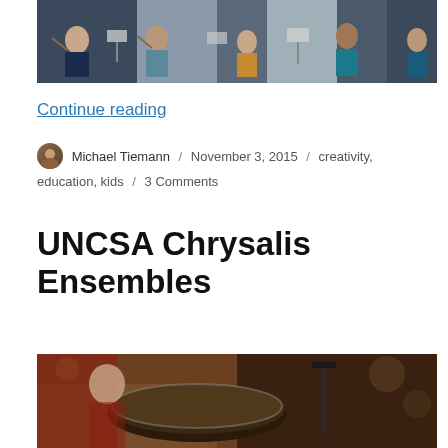[Figure (photo): Orchestra rehearsal scene with students playing string instruments, music stands visible]
Continue reading
Michael Tiemann / November 3, 2015 / creativity, education, kids / 3 Comments
UNCSA Chrysalis Ensembles
[Figure (photo): Close-up of percussion instruments, appears to show drums or timpani in an orchestra setting]